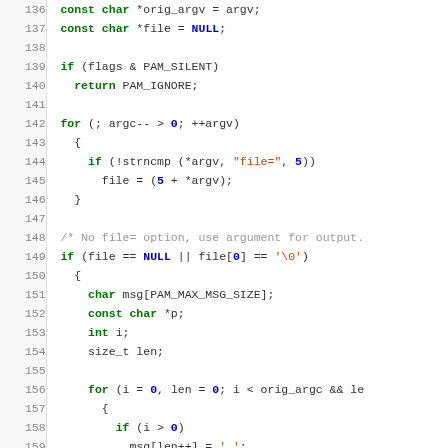[Figure (screenshot): C source code listing with syntax highlighting, lines 136-166, showing PAM module code with keyword highlighting in green/bold, numeric literals in blue/bold, string literals in red, and comments in gray.]